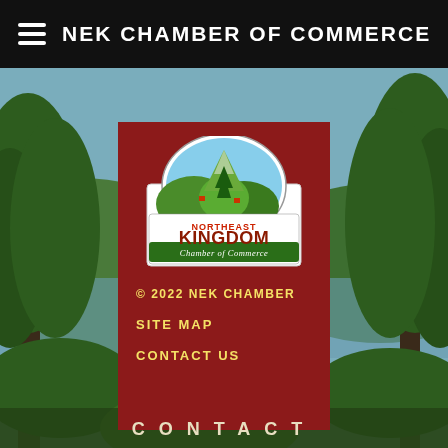NEK CHAMBER OF COMMERCE
[Figure (screenshot): NEK Chamber of Commerce website screenshot showing the Northeast Kingdom Chamber of Commerce logo on a dark red panel over a nature background photo with trees and a lake. Below the logo are copyright notice, site map, and contact us links. At the bottom is a CONTACT navigation label.]
© 2022 NEK CHAMBER
SITE MAP
CONTACT US
CONTACT